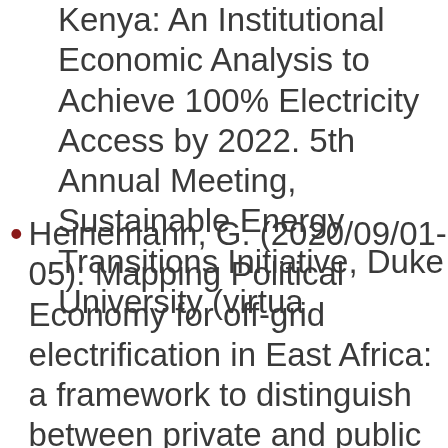Kenya: An Institutional Economic Analysis to Achieve 100% Electricity Access by 2022. 5th Annual Meeting, Sustainable Energy Transitions Initiative, Duke University (virtual)
Heinemann, G. (2020/09/01-05): Mapping Political Economy for off-grid electrification in East Africa: a framework to distinguish between private and public provision. 15th conference on Sustainable